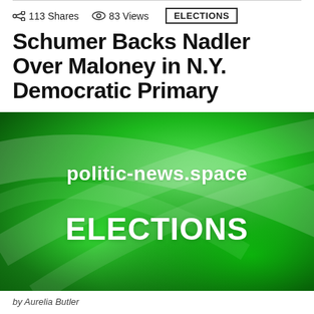113 Shares  83 Views  ELECTIONS
Schumer Backs Nadler Over Maloney in N.Y. Democratic Primary
[Figure (illustration): Green abstract swirling background image with text 'politic-news.space' and 'ELECTIONS' overlaid in white bold font.]
by Aurelia Butler